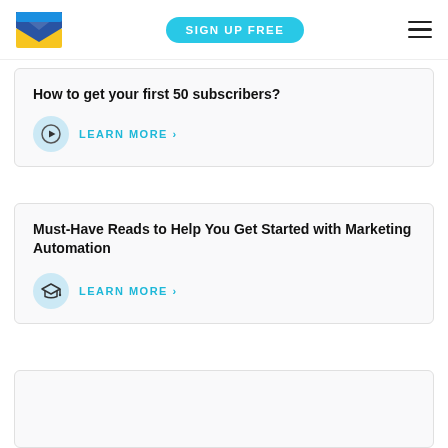SIGN UP FREE
How to get your first 50 subscribers?
LEARN MORE ›
Must-Have Reads to Help You Get Started with Marketing Automation
LEARN MORE ›